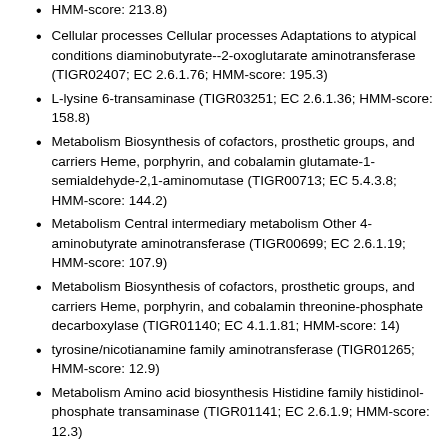HMM-score: 213.8)
Cellular processes Cellular processes Adaptations to atypical conditions diaminobutyrate--2-oxoglutarate aminotransferase (TIGR02407; EC 2.6.1.76; HMM-score: 195.3)
L-lysine 6-transaminase (TIGR03251; EC 2.6.1.36; HMM-score: 158.8)
Metabolism Biosynthesis of cofactors, prosthetic groups, and carriers Heme, porphyrin, and cobalamin glutamate-1-semialdehyde-2,1-aminomutase (TIGR00713; EC 5.4.3.8; HMM-score: 144.2)
Metabolism Central intermediary metabolism Other 4-aminobutyrate aminotransferase (TIGR00699; EC 2.6.1.19; HMM-score: 107.9)
Metabolism Biosynthesis of cofactors, prosthetic groups, and carriers Heme, porphyrin, and cobalamin threonine-phosphate decarboxylase (TIGR01140; EC 4.1.1.81; HMM-score: 14)
tyrosine/nicotianamine family aminotransferase (TIGR01265; HMM-score: 12.9)
Metabolism Amino acid biosynthesis Histidine family histidinol-phosphate transaminase (TIGR01141; EC 2.6.1.9; HMM-score: 12.3)
Metabolism Energy metabolism Amino acids and amines